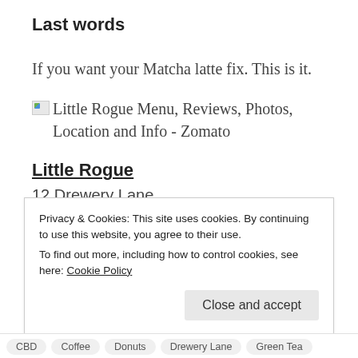Last words
If you want your Matcha latte fix. This is it.
[Figure (illustration): Broken image placeholder with alt text: Little Rogue Menu, Reviews, Photos, Location and Info - Zomato]
Little Rogue
12 Drewery Lane
Melbourne VIC 3000
Privacy & Cookies: This site uses cookies. By continuing to use this website, you agree to their use.
To find out more, including how to control cookies, see here: Cookie Policy
CBD
Coffee
Donuts
Drewery Lane
Green Tea